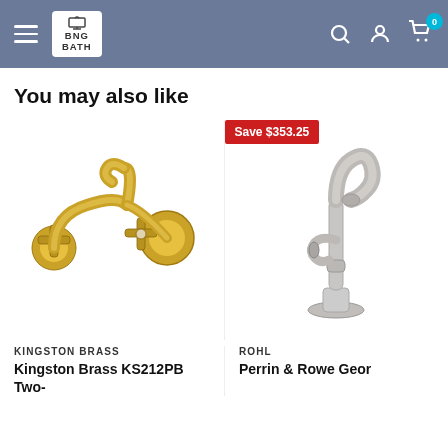BNG BATH — site header with hamburger menu, logo, search, account, and cart icons
You may also like
[Figure (photo): Gold/polished brass wall-mount two-handle kitchen faucet (Kingston Brass KS212PB) with cross handles]
KINGSTON BRASS
Kingston Brass KS212PB Two-
[Figure (photo): Brushed nickel tall single-handle kitchen faucet (Perrin & Rowe Georg...) with Save $353.25 badge]
ROHL
Perrin & Rowe Geor